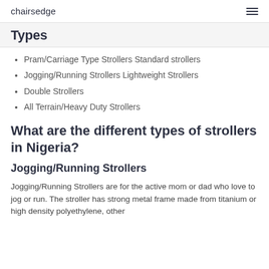chairsedge
Types
Pram/Carriage Type Strollers Standard strollers
Jogging/Running Strollers Lightweight Strollers
Double Strollers
All Terrain/Heavy Duty Strollers
What are the different types of strollers in Nigeria?
Jogging/Running Strollers
Jogging/Running Strollers are for the active mom or dad who love to jog or run. The stroller has strong metal frame made from titanium or high density polyethylene, other